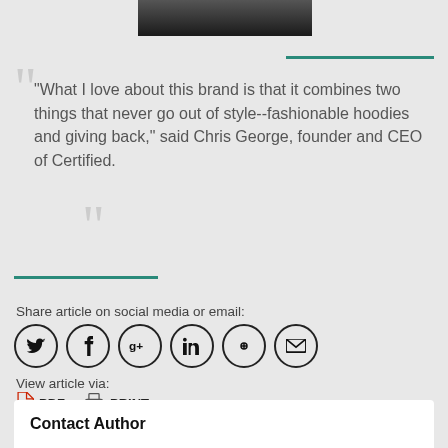[Figure (photo): Partial photo strip at top of page showing dark image]
“What I love about this brand is that it combines two things that never go out of style--fashionable hoodies and giving back,” said Chris George, founder and CEO of Certified.
Share article on social media or email:
[Figure (infographic): Row of social media icons: Twitter, Facebook, Google+, LinkedIn, Pinterest, Email]
View article via:
PDF   PRINT
Contact Author